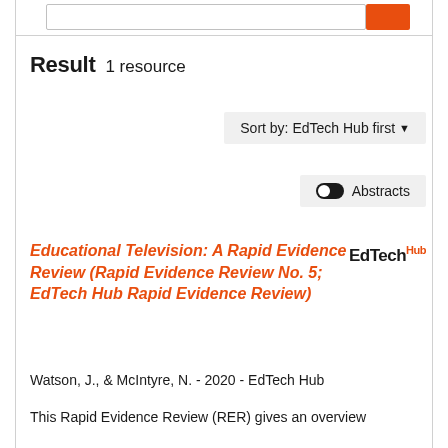[Figure (screenshot): Top search bar area with orange search button]
Result  1 resource
Sort by: EdTech Hub first
Abstracts (toggle)
Educational Television: A Rapid Evidence Review (Rapid Evidence Review No. 5; EdTech Hub Rapid Evidence Review)
[Figure (logo): EdTech Hub logo - black text with orange superscript Hub]
Watson, J., & McIntyre, N. - 2020 - EdTech Hub
This Rapid Evidence Review (RER) gives an overview